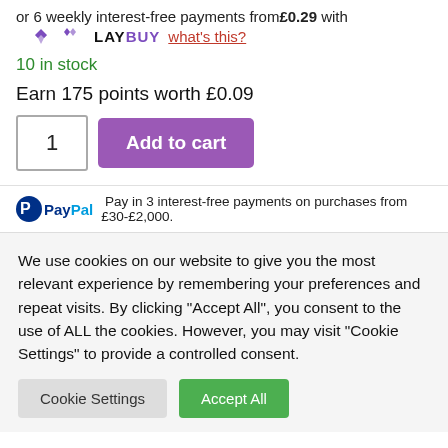or 6 weekly interest-free payments from £0.29 with LAYBUY what's this?
10 in stock
Earn 175 points worth £0.09
1  Add to cart
PayPal Pay in 3 interest-free payments on purchases from £30-£2,000.
We use cookies on our website to give you the most relevant experience by remembering your preferences and repeat visits. By clicking "Accept All", you consent to the use of ALL the cookies. However, you may visit "Cookie Settings" to provide a controlled consent.
Cookie Settings  Accept All